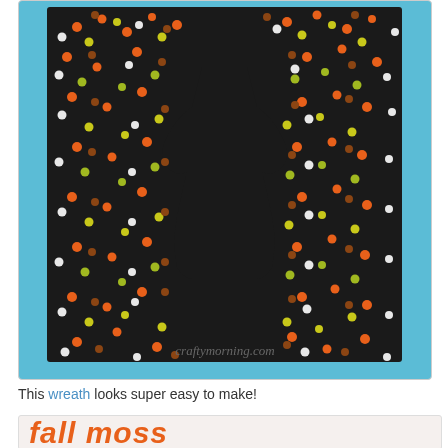[Figure (photo): A black sheet of paper covered with colorful dot-painted fingerprints in orange, yellow, white, brown, and green colors arranged around a silhouette of a tree. The background behind the paper is bright blue. Watermark reads 'craftymorning.com'.]
This wreath looks super easy to make!
[Figure (photo): Partial view of a 'fall moss' banner/title in orange and brown text on a light background.]